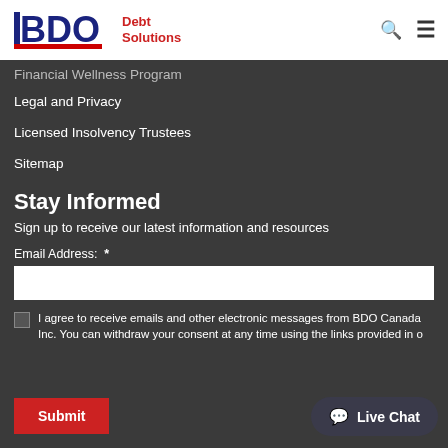BDO Debt Solutions
Financial Wellness Program
Legal and Privacy
Licensed Insolvency Trustees
Sitemap
Stay Informed
Sign up to receive our latest information and resources
Email Address: *
I agree to receive emails and other electronic messages from BDO Canada Inc. You can withdraw your consent at any time using the links provided in o...
Submit
Live Chat